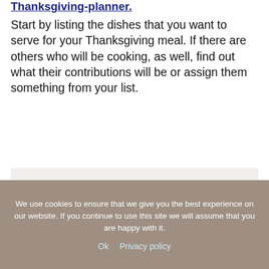your Thanksgiving-planner.
Start by listing the dishes that you want to serve for your Thanksgiving meal. If there are others who will be cooking, as well, find out what their contributions will be or assign them something from your list.
We use cookies to ensure that we give you the best experience on our website. If you continue to use this site we will assume that you are happy with it.
Ok   Privacy policy